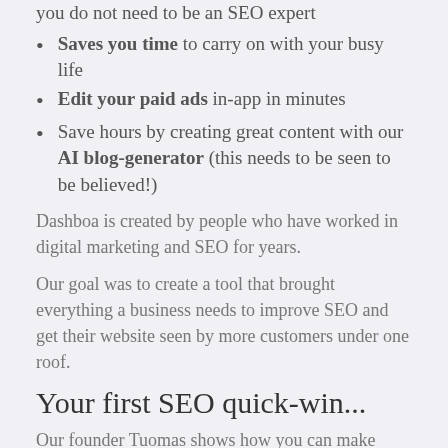you do not need to be an SEO expert
Saves you time to carry on with your busy life
Edit your paid ads in-app in minutes
Save hours by creating great content with our AI blog-generator (this needs to be seen to be believed!)
Dashboa is created by people who have worked in digital marketing and SEO for years.
Our goal was to create a tool that brought everything a business needs to improve SEO and get their website seen by more customers under one roof.
Your first SEO quick-win...
Our founder Tuomas shows how you can make your first SEO quick wins in minutes using